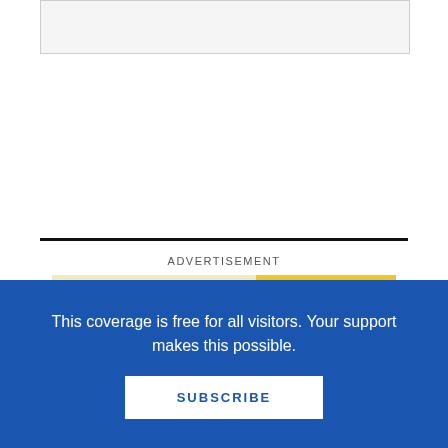[Figure (other): Gray box at top of page, partially visible]
ADVERTISEMENT
[Figure (illustration): LJ&SLJ Professional Development advertisement banner with yellow/cream background. Shows 'LJ&SLJ PROFESSIONAL DEVELOPMENT' logo and headline 'How to Build LGBTQIA+ Centered Spaces, Programs, and Services']
This coverage is free for all visitors. Your support makes this possible.
SUBSCRIBE